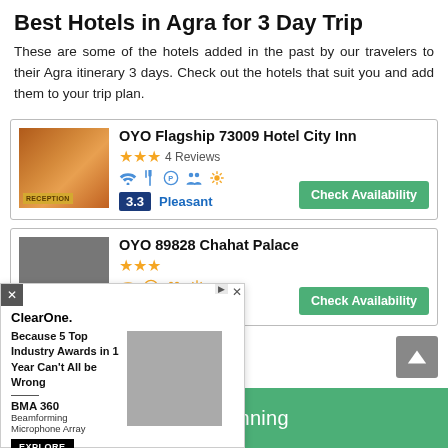Best Hotels in Agra for 3 Day Trip
These are some of the hotels added in the past by our travelers to their Agra itinerary 3 days. Check out the hotels that suit you and add them to your trip plan.
[Figure (screenshot): Hotel listing card for OYO Flagship 73009 Hotel City Inn showing hotel image, 3-star rating, 4 Reviews, amenity icons, rating 3.3 Pleasant, and Check Availability button]
[Figure (screenshot): Hotel listing card for OYO 89828 Chahat Palace showing hotel image, 3-star rating, amenity icons, and Check Availability button]
[Figure (screenshot): ClearOne advertisement overlay showing BMA 360 Beamforming Microphone Array with text 'Because 5 Top Industry Awards in 1 Year Can't All be Wrong']
Start Planning